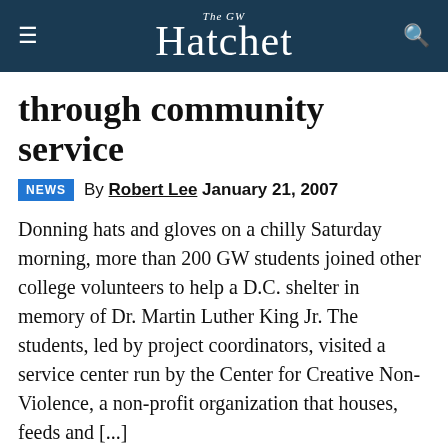The GW Hatchet
through community service
By Robert Lee January 21, 2007
Donning hats and gloves on a chilly Saturday morning, more than 200 GW students joined other college volunteers to help a D.C. shelter in memory of Dr. Martin Luther King Jr. The students, led by project coordinators, visited a service center run by the Center for Creative Non-Violence, a non-profit organization that houses, feeds and [...]
Holocaust survivor discusses Iraq War, Iran, Israel